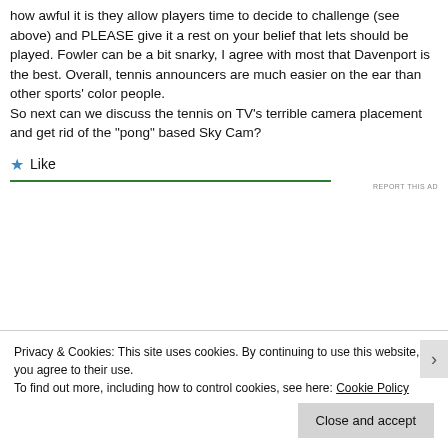how awful it is they allow players time to decide to challenge (see above) and PLEASE give it a rest on your belief that lets should be played. Fowler can be a bit snarky, I agree with most that Davenport is the best. Overall, tennis announcers are much easier on the ear than other sports' color people.
So next can we discuss the tennis on TV's terrible camera placement and get rid of the "pong" based Sky Cam?
Like
REPORT THIS AD
Privacy & Cookies: This site uses cookies. By continuing to use this website, you agree to their use.
To find out more, including how to control cookies, see here: Cookie Policy
Close and accept